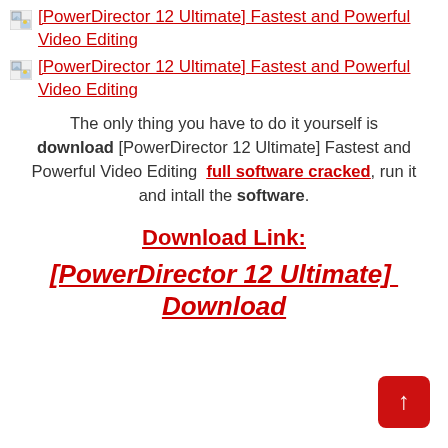[Figure (other): Broken image icon placeholder]
[PowerDirector 12 Ultimate] Fastest and Powerful Video Editing (link 1)
[Figure (other): Broken image icon placeholder]
[PowerDirector 12 Ultimate] Fastest and Powerful Video Editing (link 2)
The only thing you have to do it yourself is download [PowerDirector 12 Ultimate] Fastest and Powerful Video Editing  full software cracked, run it and intall the software.
Download Link:
[PowerDirector 12 Ultimate]  Download